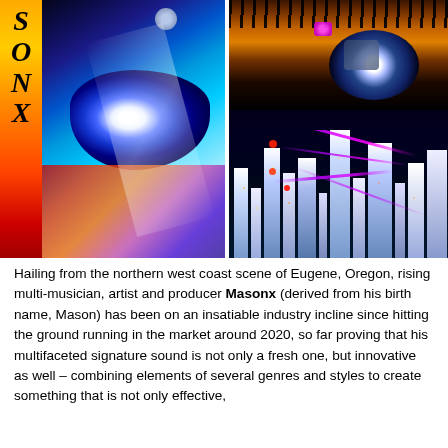[Figure (photo): Two artistic images side by side: left panel shows a close-up of a blue eye with cosmic/galaxy makeup and the word SONX in italic bold text on an orange-red-yellow vertical banner; right panel shows a close-up of an eye with heavy lashes against a futuristic city skyline background with purple laser beams.]
Hailing from the northern west coast scene of Eugene, Oregon, rising multi-musician, artist and producer Masonx (derived from his birth name, Mason) has been on an insatiable industry incline since hitting the ground running in the market around 2020, so far proving that his multifaceted signature sound is not only a fresh one, but innovative as well – combining elements of several genres and styles to create something that is not only effective, but attention-inspiring. His music...